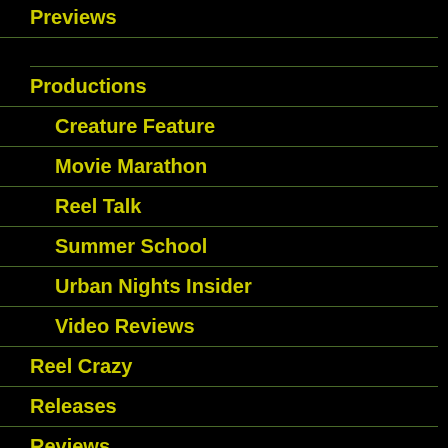Previews
Productions
Creature Feature
Movie Marathon
Reel Talk
Summer School
Urban Nights Insider
Video Reviews
Reel Crazy
Releases
Reviews